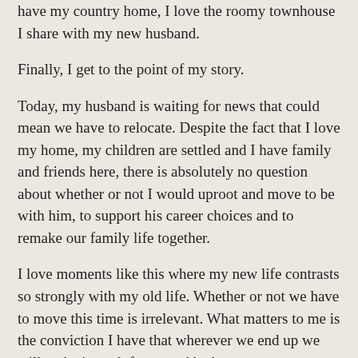have my country home, I love the roomy townhouse I share with my new husband.
Finally, I get to the point of my story.
Today, my husband is waiting for news that could mean we have to relocate. Despite the fact that I love my home, my children are settled and I have family and friends here, there is absolutely no question about whether or not I would uproot and move to be with him, to support his career choices and to remake our family life together.
I love moments like this where my new life contrasts so strongly with my old life. Whether or not we have to move this time is irrelevant. What matters to me is the conviction I have that wherever we end up we will make it work for us and be happy.
I adore my husband. I joke that I would live in a shed as long as we were together and if I have to put that claim made in jest to the ultimate test, then so be it.